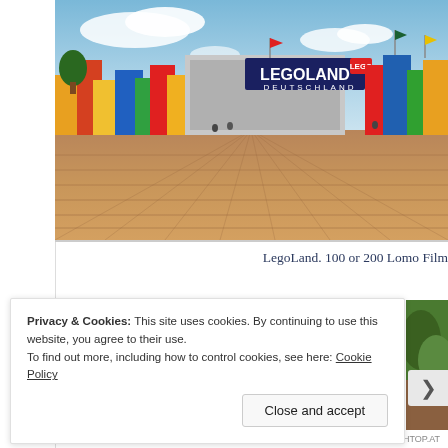[Figure (photo): Photograph of the entrance to Legoland Deutschland theme park. Colorful LEGO-themed structures and large LEGOLAND DEUTSCHLAND signage are visible in the background. The foreground shows a wide paved plaza with brick-pattern tiles receding in perspective under a partly cloudy blue sky.]
LegoLand. 100 or 200 Lomo Film
Privacy & Cookies: This site uses cookies. By continuing to use this website, you agree to their use.
To find out more, including how to control cookies, see here: Cookie Policy
Close and accept